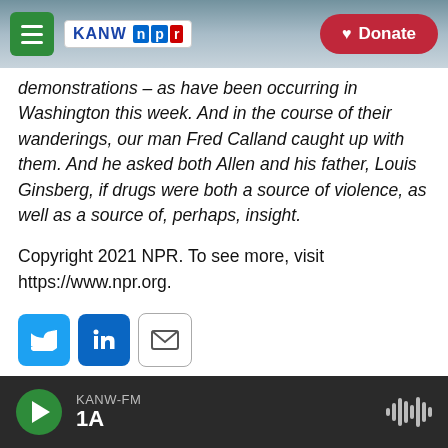KANW NPR / Donate
demonstrations – as have been occurring in Washington this week. And in the course of their wanderings, our man Fred Calland caught up with them. And he asked both Allen and his father, Louis Ginsberg, if drugs were both a source of violence, as well as a source of, perhaps, insight.
Copyright 2021 NPR. To see more, visit https://www.npr.org.
[Figure (infographic): Social sharing buttons: Twitter (blue), LinkedIn (blue), Email (white with envelope icon)]
KANW-FM 1A